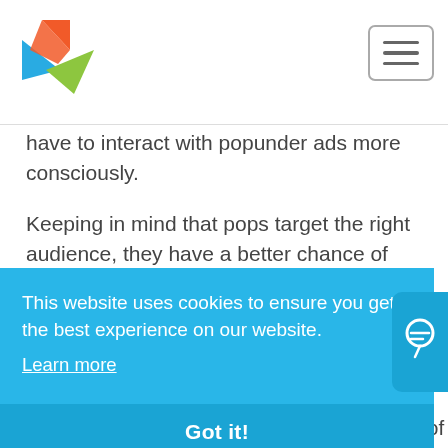[Figure (logo): Colorful bird/arrow logo (orange, blue, green) in top-left header]
[Figure (other): Hamburger menu icon button in top-right header]
have to interact with popunder ads more consciously.
Keeping in mind that pops target the right audience, they have a better chance of being viewed.
All these types use Javascript code in order to
This website uses cookies to ensure you get the best experience on our website.
Learn more
Got it!
mobile screen, videos may not run because of